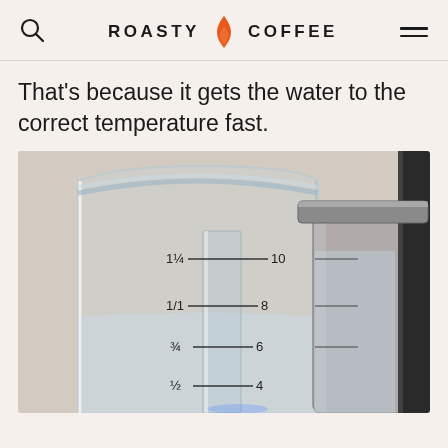ROASTY COFFEE
That's because it gets the water to the correct temperature fast.
[Figure (photo): Close-up photo of a clear glass carafe/measuring cup next to a coffee maker water reservoir, showing measurement markings including 1¼/10, 1/1-8, ¾-6, ½-4 with water inside.]